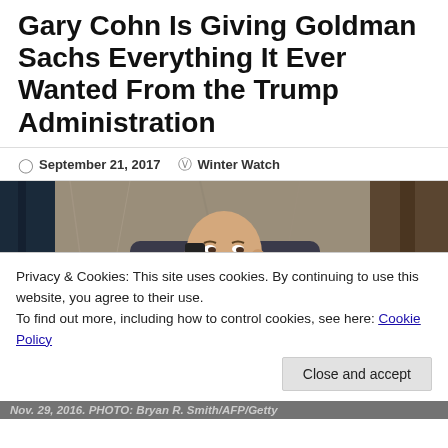Gary Cohn Is Giving Goldman Sachs Everything It Ever Wanted From the Trump Administration
September 21, 2017   Winter Watch
[Figure (photo): Man in suit talking on phone in lobby, identified as Gary Cohn]
Privacy & Cookies: This site uses cookies. By continuing to use this website, you agree to their use.
To find out more, including how to control cookies, see here: Cookie Policy
Nov. 29, 2016. PHOTO: Bryan R. Smith/AFP/Getty